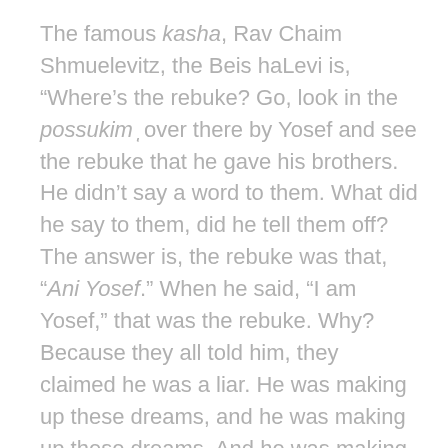The famous kasha, Rav Chaim Shmuelevitz, the Beis haLevi is, “Where’s the rebuke? Go, look in the possukimover there by Yosef and see the rebuke that he gave his brothers. He didn’t say a word to them. What did he say to them, did he tell them off? The answer is, the rebuke was that, “Ani Yosef.” When he said, “I am Yosef,” that was the rebuke. Why? Because they all told him, they claimed he was a liar. He was making up these dreams, and he was making up these dreams. And he was making up a dream they’re all going to bow down to him. In the end they saw it was true. They saw it was a true prophesy. When he said, “Ani Yosef” they saw that they were wrong. What greater rebuke can there be than that? This is the essence of tochacha. This is the essence of rebuke –